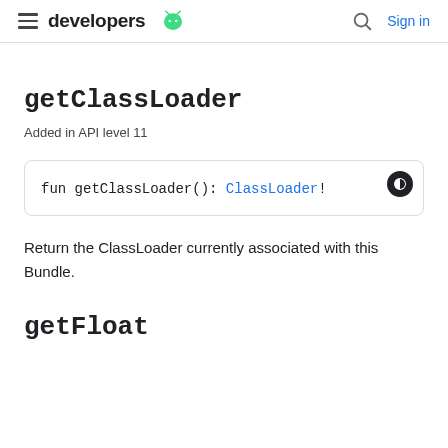developers | Sign in
getClassLoader
Added in API level 11
Return the ClassLoader currently associated with this Bundle.
getFloat